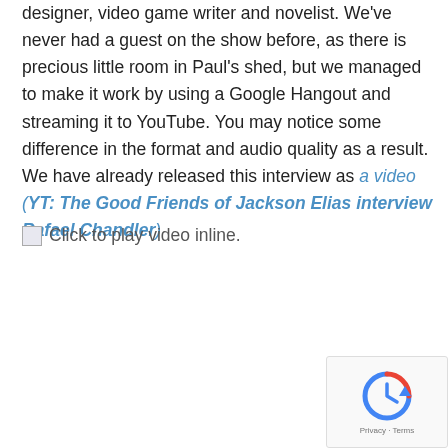designer, video game writer and novelist. We've never had a guest on the show before, as there is precious little room in Paul's shed, but we managed to make it work by using a Google Hangout and streaming it to YouTube. You may notice some difference in the format and audio quality as a result. We have already released this interview as a video (YT: The Good Friends of Jackson Elias interview Rafael Chandler)
Click to play video inline.